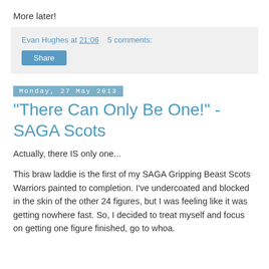More later!
Evan Hughes at 21:06   5 comments:
Share
Monday, 27 May 2013
"There Can Only Be One!" - SAGA Scots
Actually, there IS only one...
This braw laddie is the first of my SAGA Gripping Beast Scots Warriors painted to completion. I've undercoated and blocked in the skin of the other 24 figures, but I was feeling like it was getting nowhere fast. So, I decided to treat myself and focus on getting one figure finished, go to whoa.